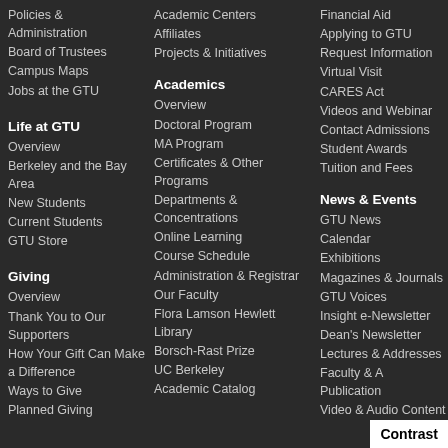Policies & Administration
Board of Trustees
Campus Maps
Jobs at the GTU
Life at GTU
Overview
Berkeley and the Bay Area
New Students
Current Students
GTU Store
Giving
Overview
Thank You to Our Supporters
How Your Gift Can Make a Difference
Ways to Give
Planned Giving
Academic Centers
Affiliates
Projects & Initiatives
Academics
Overview
Doctoral Program
MA Program
Certificates & Other Programs
Departments & Concentrations
Online Learning
Course Schedule
Administration & Registrar
Our Faculty
Flora Lamson Hewlett Library
Borsch-Rast Prize
UC Berkeley
Academic Catalog
Financial Aid
Applying to GTU
Request Information
Virtual Visit
CARES Act
Videos and Webinar
Contact Admissions
Student Awards
Tuition and Fees
News & Events
GTU News
Calendar
Exhibitions
Magazines & Journals
GTU Voices
Insight e-Newsletter
Dean's Newsletter
Lectures & Addresses
Faculty & A Publications
Video & Audio Content